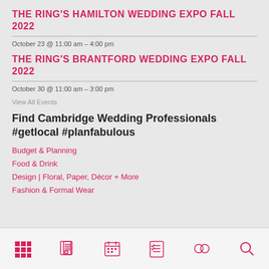THE RING'S HAMILTON WEDDING EXPO FALL 2022
October 23 @ 11:00 am - 4:00 pm
THE RING'S BRANTFORD WEDDING EXPO FALL 2022
October 30 @ 11:00 am - 3:00 pm
View All Events
Find Cambridge Wedding Professionals #getlocal #planfabulous
Budget & Planning
Food & Drink
Design | Floral, Paper, Décor + More
Fashion & Formal Wear
[Figure (other): Bottom navigation bar with icons: grid/menu, newspaper, calendar, checklist, rings/infinity, search]